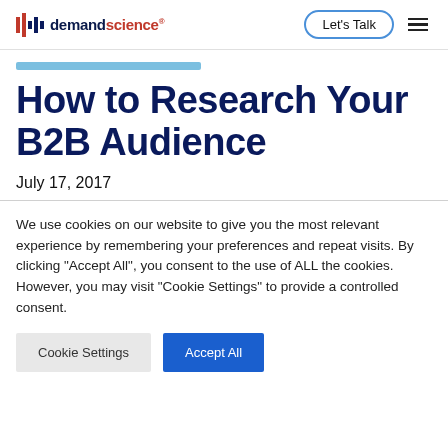demandscience | Let's Talk
How to Research Your B2B Audience
July 17, 2017
We use cookies on our website to give you the most relevant experience by remembering your preferences and repeat visits. By clicking "Accept All", you consent to the use of ALL the cookies. However, you may visit "Cookie Settings" to provide a controlled consent.